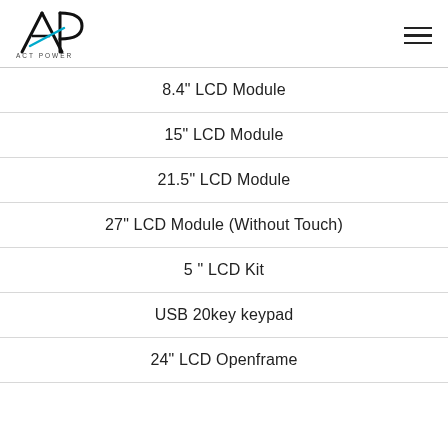ACT POWER logo and navigation
8.4" LCD Module
15" LCD Module
21.5" LCD Module
27" LCD Module (Without Touch)
5 " LCD Kit
USB 20key keypad
24" LCD Openframe